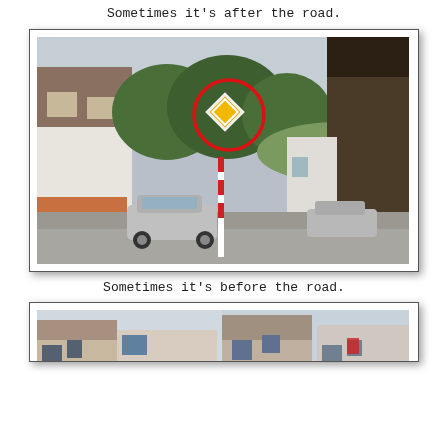Sometimes it's after the road.
[Figure (photo): Street scene showing a German road intersection with a yellow diamond priority road sign circled in red. A silver hatchback car is visible on the left, buildings on both sides, trees in the background, red and white striped road marker pole in the center.]
Sometimes it's before the road.
[Figure (photo): Street scene showing a narrow European town street with buildings on both sides, partially visible at the bottom of the page. Two views appear to be side by side.]